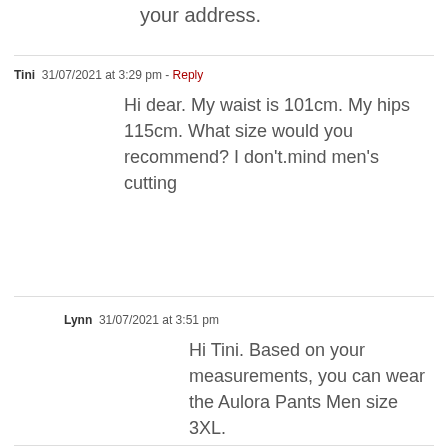your address.
Tini  31/07/2021 at 3:29 pm - Reply
Hi dear. My waist is 101cm. My hips 115cm. What size would you recommend? I don’t.mind men’s cutting
Lynn  31/07/2021 at 3:51 pm
Hi Tini. Based on your measurements, you can wear the Aulora Pants Men size 3XL.